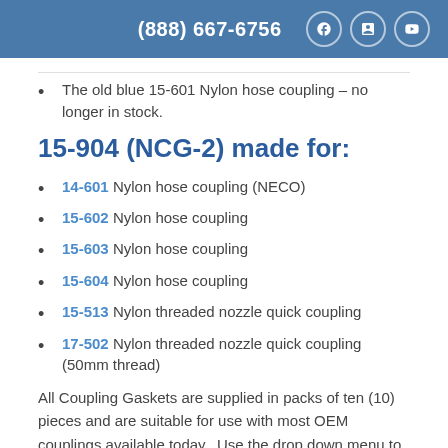(888) 667-6756
The old blue 15-601 Nylon hose coupling – no longer in stock.
15-904 (NCG-2) made for:
14-601 Nylon hose coupling (NECO)
15-602 Nylon hose coupling
15-603 Nylon hose coupling
15-604 Nylon hose coupling
15-513 Nylon threaded nozzle quick coupling
17-502 Nylon threaded nozzle quick coupling (50mm thread)
All Coupling Gaskets are supplied in packs of ten (10) pieces and are suitable for use with most OEM couplings available today.  Use the drop down menu to select